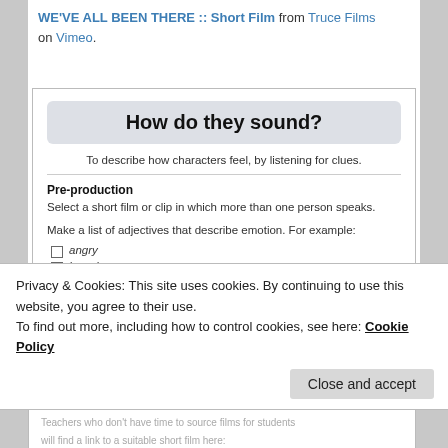WE'VE ALL BEEN THERE :: Short Film from Truce Films on Vimeo.
[Figure (other): Embedded card with title 'How do they sound?', subtitle 'To describe how characters feel, by listening for clues.', section label 'Pre-production', body text and checklist items including 'angry', 'bored', 'confused']
Privacy & Cookies: This site uses cookies. By continuing to use this website, you agree to their use.
To find out more, including how to control cookies, see here: Cookie Policy
Teachers who don't have time to source films for students will find a link to a suitable short film here: